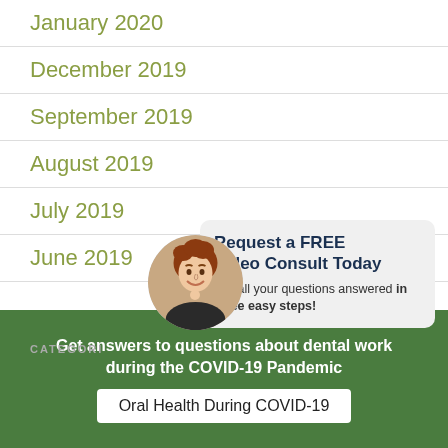January 2020
December 2019
September 2019
August 2019
July 2019
June 2019
[Figure (photo): Advertisement overlay showing a woman smiling with text: Request a FREE Video Consult Today. Get all your questions answered in three easy steps!]
CATEGORIES
Get answers to questions about dental work during the COVID-19 Pandemic
Oral Health During COVID-19